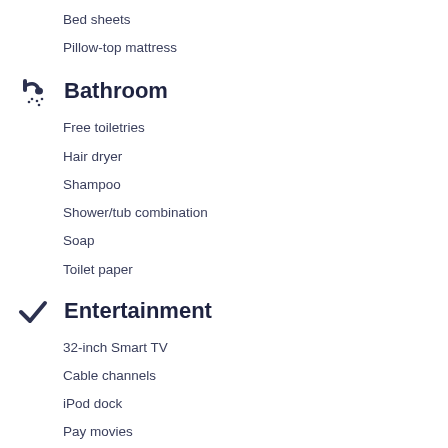Bed sheets
Pillow-top mattress
Bathroom
Free toiletries
Hair dryer
Shampoo
Shower/tub combination
Soap
Toilet paper
Entertainment
32-inch Smart TV
Cable channels
iPod dock
Pay movies
Food and drink